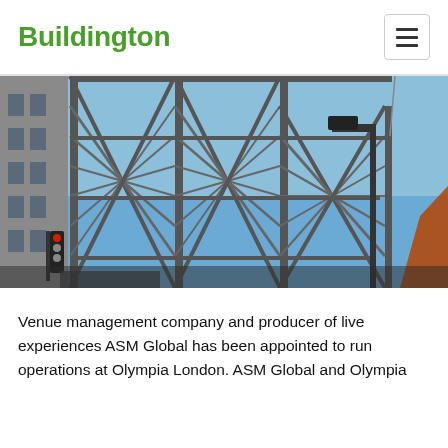Buildington
[Figure (photo): Photograph of a large steel structural framework or scaffolding on a building under construction or renovation, with cranes and a blue sky in the background. A traffic light and street lamp are visible in the foreground.]
Venue management company and producer of live experiences ASM Global has been appointed to run operations at Olympia London. ASM Global and Olympia